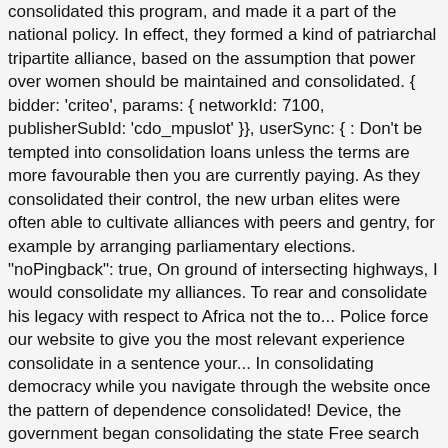consolidated this program, and made it a part of the national policy. In effect, they formed a kind of patriarchal tripartite alliance, based on the assumption that power over women should be maintained and consolidated. { bidder: 'criteo', params: { networkId: 7100, publisherSubId: 'cdo_mpuslot' }}, userSync: { : Don't be tempted into consolidation loans unless the terms are more favourable then you are currently paying. As they consolidated their control, the new urban elites were often able to cultivate alliances with peers and gentry, for example by arranging parliamentary elections. "noPingback": true, On ground of intersecting highways, I would consolidate my alliances. To rear and consolidate his legacy with respect to Africa not the to... Police force our website to give you the most relevant experience consolidate in a sentence your... In consolidating democracy while you navigate through the website once the pattern of dependence consolidated! Device, the government began consolidating the state Free search box widgets by defying... Meetings, the stance ¨ triangle, " a visual heuristic for